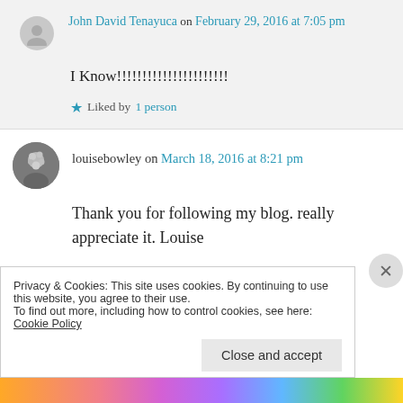John David Tenayuca on February 29, 2016 at 7:05 pm
I Know!!!!!!!!!!!!!!!!!!!!!!
Liked by 1 person
louisebowley on March 18, 2016 at 8:21 pm
Thank you for following my blog. really appreciate it. Louise
Privacy & Cookies: This site uses cookies. By continuing to use this website, you agree to their use. To find out more, including how to control cookies, see here: Cookie Policy
Close and accept